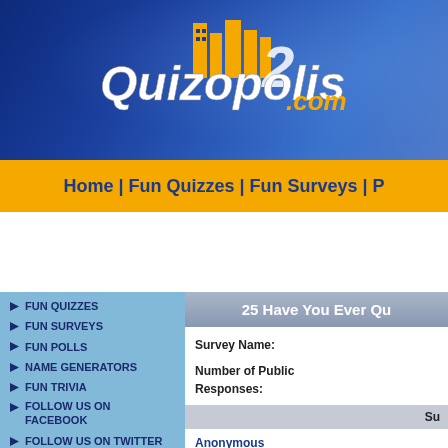[Figure (logo): Quizopolis2.com logo on dark blue banner background with yellow cityscape silhouette]
Home | Fun Quizzes | Fun Surveys | P
FUN QUIZZES
FUN SURVEYS
FUN POLLS
NAME GENERATORS
FUN TRIVIA
FOLLOW US ON FACEBOOK
FOLLOW US ON TWITTER
Subscribe to Quizopolis
25 Have You Ever Qu
Survey Name:
Number of Public Responses:
Su
Anonymous
emma
Anonymous